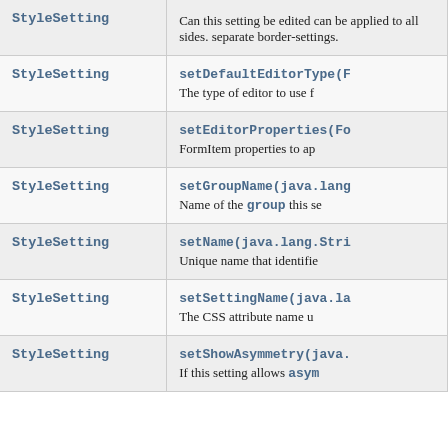| Type | Method and Description |
| --- | --- |
| StyleSetting | setCountsAsymmetry(...)  Can this setting be edited can be applied to all sides. separate border-settings. |
| StyleSetting | setDefaultEditorType(F...  The type of editor to use f... |
| StyleSetting | setEditorProperties(Fo...  FormItem properties to ap... |
| StyleSetting | setGroupName(java.lang...  Name of the group this se... |
| StyleSetting | setName(java.lang.Stri...  Unique name that identifie... |
| StyleSetting | setSettingName(java.la...  The CSS attribute name u... |
| StyleSetting | setShowAsymmetry(java....  If this setting allows asym... |